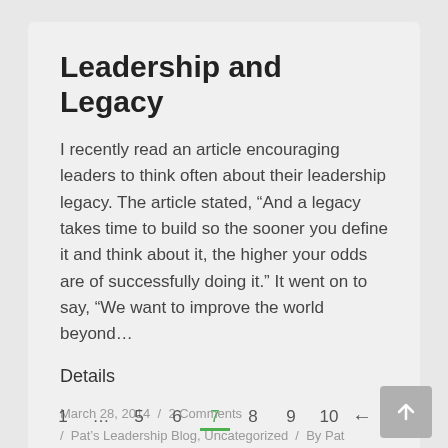Leadership and Legacy
I recently read an article encouraging leaders to think often about their leadership legacy. The article stated, “And a legacy takes time to build so the sooner you define it and think about it, the higher your odds are of successfully doing it.” It went on to say, “We want to improve the world beyond…
Details
March 28, 2014  /  2 Comments  /  Pat’s Leadership Blog, Uncategorized  /  By Pat Sullivan
1  …  5  6  7  8  9  10